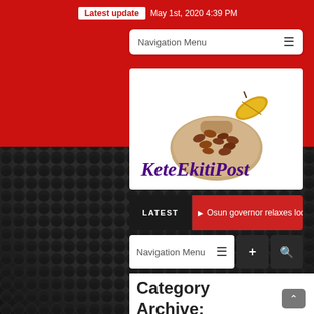Latest update May 1st, 2020 4:39 PM
Navigation Menu
[Figure (logo): KeteEkitiPost logo with cocoa beans image and purple italic text 'KeteEkitiPost']
LATEST  Osun governor relaxes lockdow
Navigation Menu
Category Archive:
Education